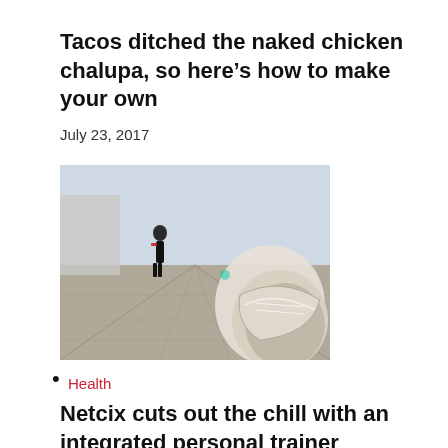Tacos ditched the naked chicken chalupa, so here's how to make your own
July 23, 2017
[Figure (photo): Close-up of a running shoe on pavement with a runner in athletic wear visible in the background on a walkway]
•
Health
Netcix cuts out the chill with an integrated personal trainer